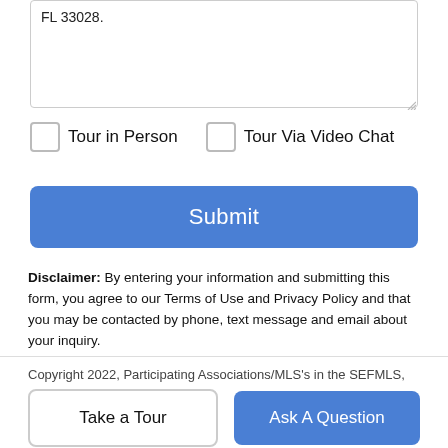FL 33028.
Tour in Person
Tour Via Video Chat
Submit
Disclaimer: By entering your information and submitting this form, you agree to our Terms of Use and Privacy Policy and that you may be contacted by phone, text message and email about your inquiry.
Copyright 2022, Participating Associations/MLS's in the SEFMLS, MIAMI Association of REALTORS, Realtor Association of Greater Ft. Lauderdale, South Broward Board of Realtors. All rights
Take a Tour
Ask A Question